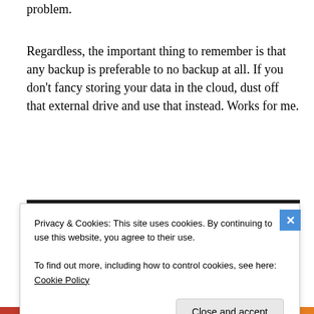problem.
Regardless, the important thing to remember is that any backup is preferable to no backup at all. If you don't fancy storing your data in the cloud, dust off that external drive and use that instead. Works for me.
[Figure (logo): Daves Computer Tips logo — black background with blue 'D' and 'C' and 'T' letters, white text reading 'Daves Computer Tips', blue banner below reading 'Computer Help, Tips, How-To's, & News']
Share this
Privacy & Cookies: This site uses cookies. By continuing to use this website, you agree to their use.
To find out more, including how to control cookies, see here: Cookie Policy
Close and accept